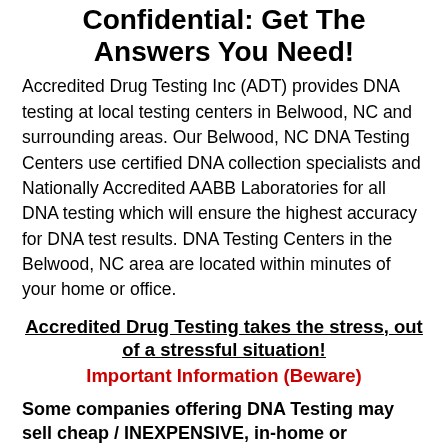Confidential: Get The Answers You Need!
Accredited Drug Testing Inc (ADT) provides DNA testing at local testing centers in Belwood, NC and surrounding areas. Our Belwood, NC DNA Testing Centers use certified DNA collection specialists and Nationally Accredited AABB Laboratories for all DNA testing which will ensure the highest accuracy for DNA test results. DNA Testing Centers in the Belwood, NC area are located within minutes of your home or office.
Accredited Drug Testing takes the stress, out of a stressful situation!
Important Information (Beware)
Some companies offering DNA Testing may sell cheap / INEXPENSIVE, in-home or laboratory DNA kits. Please be aware that these types of DNA testing products